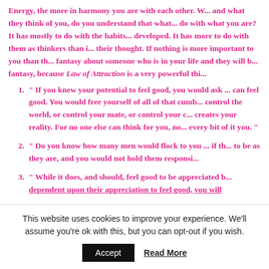Energy, the more in harmony you are with each other. W... and what they think of you, do you understand that what... do with what you are? It has mostly to do with the habits... developed. It has more to do with them as thinkers than i... their thought. If nothing is more important to you than th... fantasy about someone who is in your life and they will b... fantasy, because Law of Attraction is a very powerful thi...
" If you knew your potential to feel good, you would ask ... can feel good. You would free yourself of all of that cumb... control the world, or control your mate, or control your c... creates your reality. For no one else can think for you, no... every bit of it you. "
" Do you know how many men would flock to you ... if th... to be as they are, and you would not hold them responsi...
" While it does, and should, feel good to be appreciated b... dependent upon their appreciation to feel good, you will...
This website uses cookies to improve your experience. We'll assume you're ok with this, but you can opt-out if you wish.